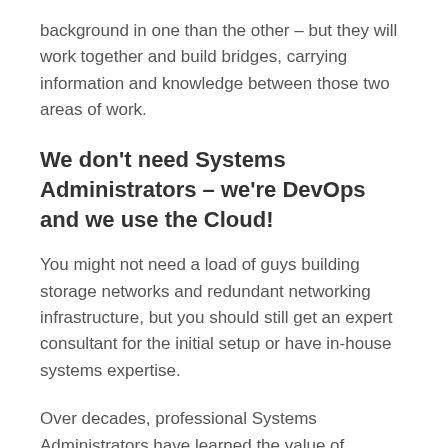background in one than the other – but they will work together and build bridges, carrying information and knowledge between those two areas of work.
We don't need Systems Administrators – we're DevOps and we use the Cloud!
You might not need a load of guys building storage networks and redundant networking infrastructure, but you should still get an expert consultant for the initial setup or have in-house systems expertise.
Over decades, professional Systems Administrators have learned the value of backups, strong security policies, documentation, monitoring and countless other aspects of system architecture and networks. There are a lot of tasks that get done almost as